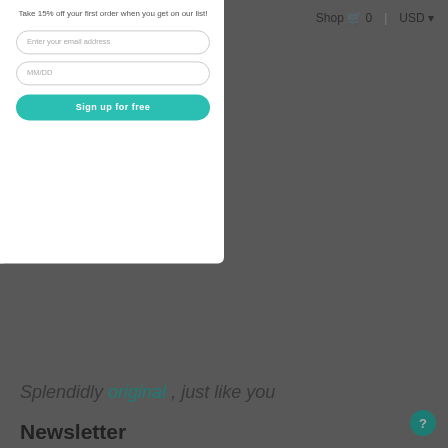≡ Menu   Shop 🛒 0  |  USD ▾
Splendidly original, just like you
Newsletter
[Figure (screenshot): Email signup modal popup with pink confetti dot background on left panel. Left panel shows script text 'new around here?', bold text 'So Nice to Meet You!', 'GET ON THE LIST & RECEIVE', large '15% off', 'YOUR FIRST ORDER', and small text about birthday gift. Right panel shows bold teal 'New Around Here?', promo text, email input, MM/DD input, and teal 'Sign up for free' button.]
new around here?
New Around Here?
So Nice to Meet You!
GET ON THE LIST & RECEIVE
15% off
YOUR FIRST ORDER
And PS: what's better than cake? Enter your birthday for a pretty fun gift to use all month long!
Take 15% off your first order when you get on our list!
Enter your email address
MM/DD
Sign up for free